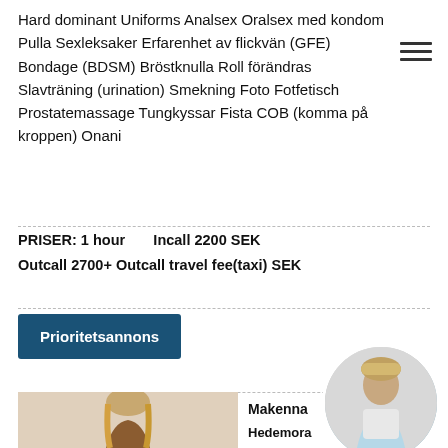Hard dominant Uniforms Analsex Oralsex med kondom Pulla Sexleksaker Erfarenhet av flickvän (GFE) Bondage (BDSM) Bröstknulla Roll förändras Slavträning (urination) Smekning Foto Fotfetisch Prostatemassage Tungkyssar Fista COB (komma på kroppen) Onani
PRISER: 1 hour   Incall 2200 SEK
Outcall 2700+ Outcall travel fee(taxi) SEK
Prioritetsannons
[Figure (photo): Profile photo of a woman with long blonde ombre hair]
Makenna
Hedemora
Inlagd: 14:5...
Profil: 46202555991
[Figure (photo): Circular thumbnail photo of a woman in white top and light blue shorts]